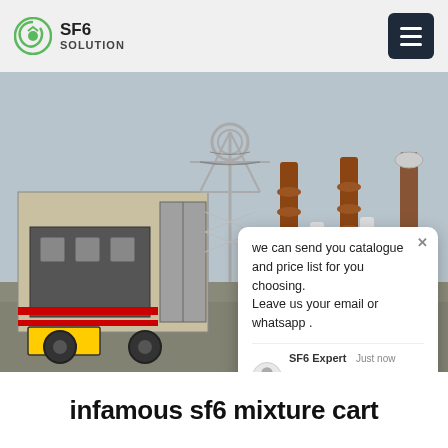SF6 SOLUTION
[Figure (photo): Outdoor electrical substation with high-voltage equipment, transformer towers, insulators, and an SF6 gas mixture service cart (truck with equipment cabinet, license plate N3237) parked in the foreground. A chat popup overlay reads: 'we can send you catalogue and price list for you choosing. Leave us your email or whatsapp.' SF6 Expert, just now.]
infamous sf6 mixture cart